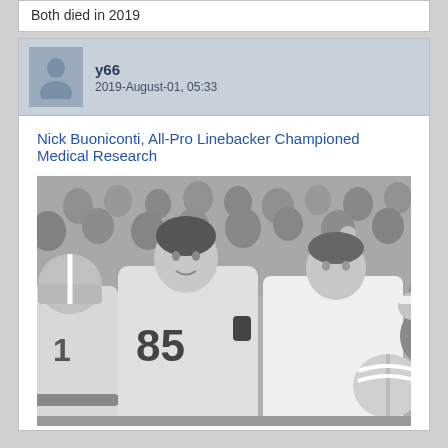Both died in 2019
y66
2019-August-01, 05:33
Nick Buoniconti, All-Pro Linebacker Championed Medical Research
[Figure (photo): Black and white photograph of football players and a coach celebrating. A player wearing jersey number 85 is prominent in the center, with another player wearing number 1 to the left, and a man in a white shirt (coach) to the right holding a helmet. A large crowd is visible in the background.]